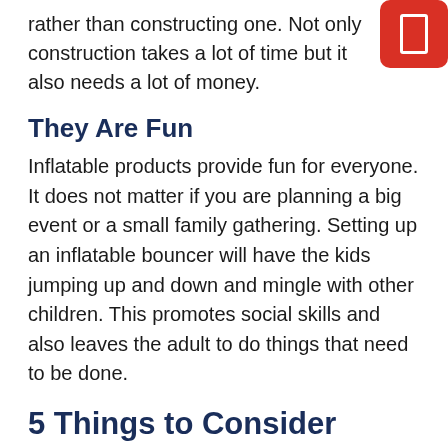rather than constructing one. Not only construction takes a lot of time but it also needs a lot of money.
They Are Fun
Inflatable products provide fun for everyone. It does not matter if you are planning a big event or a small family gathering. Setting up an inflatable bouncer will have the kids jumping up and down and mingle with other children. This promotes social skills and also leaves the adult to do things that need to be done.
5 Things to Consider When Purchasing Inflatable Products
Purpose